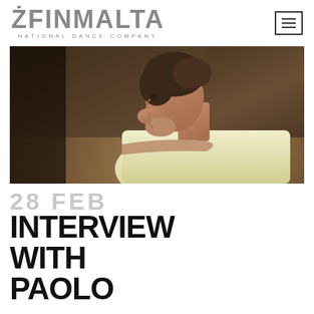ŻFINMALTA NATIONAL DANCE COMPANY
[Figure (photo): A man in a white t-shirt seen from the side, leaning forward with his chin resting on his hand, looking contemplatively to the left. Dark background with stage/studio setting.]
28 FEB
INTERVIEW WITH PAOLO